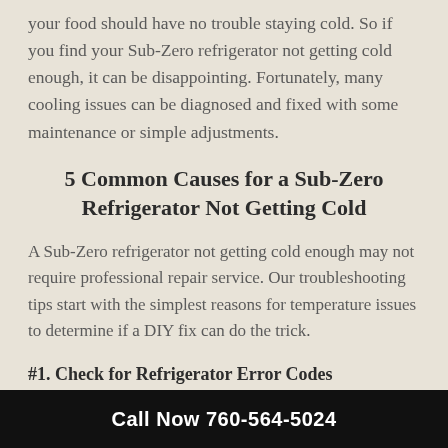your food should have no trouble staying cold. So if you find your Sub-Zero refrigerator not getting cold enough, it can be disappointing. Fortunately, many cooling issues can be diagnosed and fixed with some maintenance or simple adjustments.
5 Common Causes for a Sub-Zero Refrigerator Not Getting Cold
A Sub-Zero refrigerator not getting cold enough may not require professional repair service. Our troubleshooting tips start with the simplest reasons for temperature issues to determine if a DIY fix can do the trick.
#1. Check for Refrigerator Error Codes
Call Now 760-564-5024